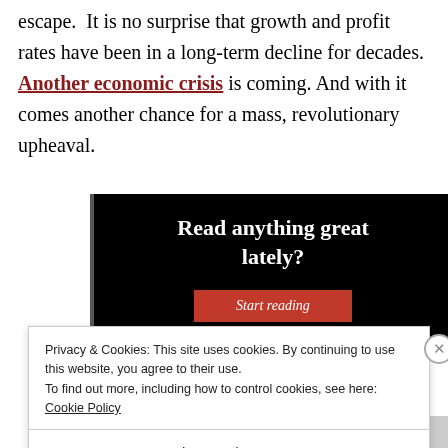escape.  It is no surprise that growth and profit rates have been in a long-term decline for decades.  Another economic crisis is coming.  And with it comes another chance for a mass, revolutionary upheaval.
[Figure (screenshot): Dark advertisement banner with white bold serif text reading 'Read anything great lately?' and a red 'Start reading' button below.]
Privacy & Cookies: This site uses cookies. By continuing to use this website, you agree to their use.
To find out more, including how to control cookies, see here: Cookie Policy
Close and accept